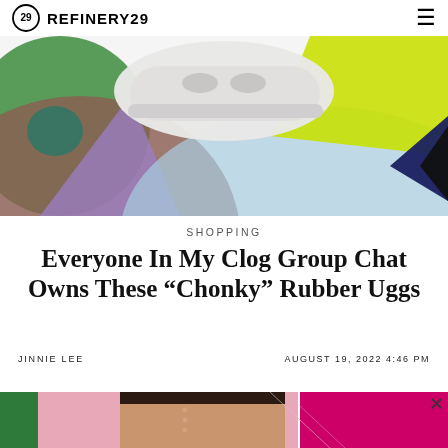REFINERY29
[Figure (illustration): Hero image of a white chunky clog shoe on a colorful abstract geometric background with green, purple, brown, blue, yellow-green, and black shapes.]
SHOPPING
Everyone In My Clog Group Chat Owns These “Chonky” Rubber Uggs
JINNIE LEE    AUGUST 19, 2022 4:46 PM
[Figure (photo): Bottom portion of page showing a promotional banner with a woman's face, pink and green background, and magenta panel on the right.]